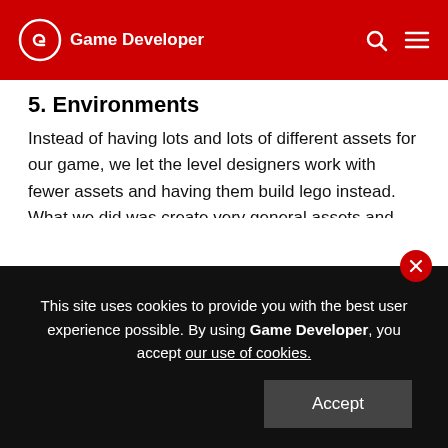Game Developer
5. Environments
Instead of having lots and lots of different assets for our game, we let the level designers work with fewer assets and having them build lego instead. What we did was create very general assets and create different textures for them instead. So they could be used in different environments and create new things out of other things. If we needed a spaceship, we didn't create a new mesh for it. Instead it was built up from various other meshes. The screenshots below will give you a better understanding of this.
This site uses cookies to provide you with the best user experience possible. By using Game Developer, you accept our use of cookies.